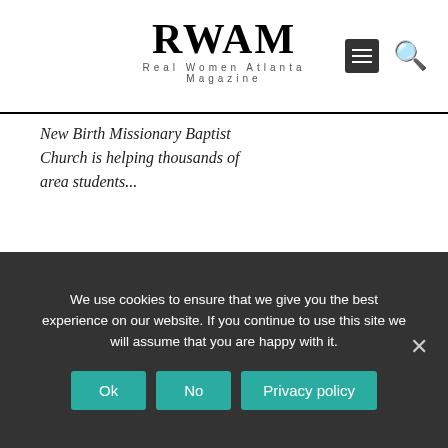RWAM Real Women Atlanta Magazine
New Birth Missionary Baptist Church is helping thousands of area students...
We use cookies to ensure that we give you the best experience on our website. If you continue to use this site we will assume that you are happy with it.